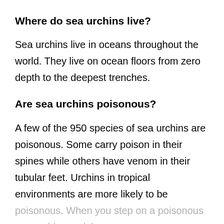Where do sea urchins live?
Sea urchins live in oceans throughout the world. They live on ocean floors from zero depth to the deepest trenches.
Are sea urchins poisonous?
A few of the 950 species of sea urchins are poisonous. Some carry poison in their spines while others have venom in their tubular feet. Urchins in tropical environments are more likely to be poisonous. When you step on a poisonous sea urchins and the venom enters a puncture in the skin,